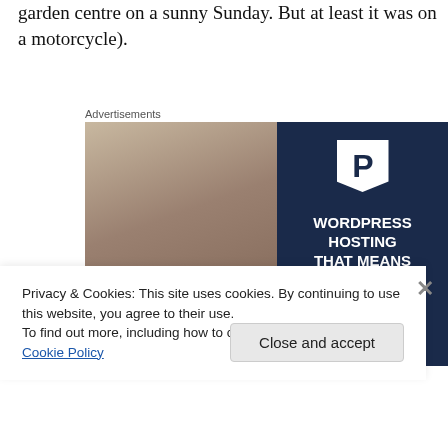garden centre on a sunny Sunday. But at least it was on a motorcycle).
Advertisements
[Figure (illustration): WordPress hosting advertisement showing a smiling woman holding an OPEN sign on the left (photo), and on the right a dark navy background with a P logo badge and text: WORDPRESS HOSTING THAT MEANS BUSINESS.]
Privacy & Cookies: This site uses cookies. By continuing to use this website, you agree to their use.
To find out more, including how to control cookies, see here: Cookie Policy